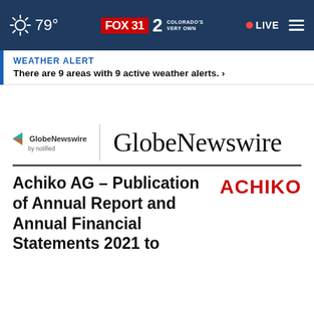[Figure (screenshot): FOX31 Channel 2 Colorado's Very Own navigation bar with weather (79°), channel logos, LIVE button, and hamburger menu on dark blue background]
WEATHER ALERT
There are 9 areas with 9 active weather alerts. >
[Figure (logo): GlobeNewswire by notified logo — small colorful play-button icon with text, vertical divider, and large GlobeNewswire wordmark in serif font]
Achiko AG – Publication of Annual Report and Annual Financial Statements 2021 to
[Figure (logo): ACHIKO logo in bold red uppercase letters]